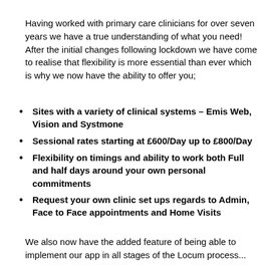Having worked with primary care clinicians for over seven years we have a true understanding of what you need! After the initial changes following lockdown we have come to realise that flexibility is more essential than ever which is why we now have the ability to offer you;
Sites with a variety of clinical systems – Emis Web, Vision and Systmone
Sessional rates starting at £600/Day up to £800/Day
Flexibility on timings and ability to work both Full and half days around your own personal commitments
Request your own clinic set ups regards to Admin, Face to Face appointments and Home Visits
We also now have the added feature of being able to implement our app in all stages of the Locum process...